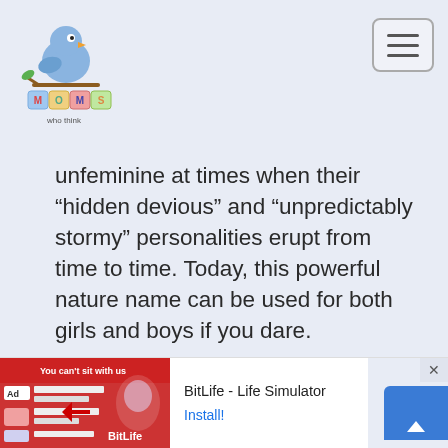[Figure (logo): Moms Who Think website logo with cartoon bird on blocks spelling MOMS]
unfeminine at times when their “hidden devious” and “unpredictably stormy” personalities erupt from time to time. Today, this powerful nature name can be used for both girls and boys if you dare.
[Figure (screenshot): BitLife - Life Simulator advertisement banner at the bottom of the page with Install button]